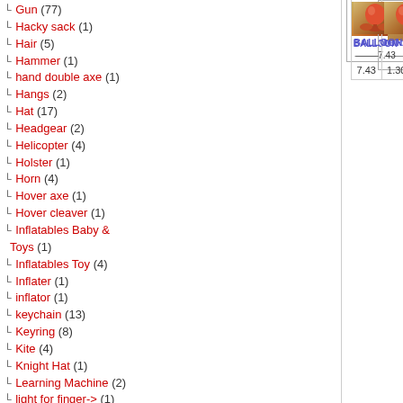Gun (77)
Hacky sack (1)
Hair (5)
Hammer (1)
hand double axe (1)
Hangs (2)
Hat (17)
Headgear (2)
Helicopter (4)
Holster (1)
Horn (4)
Hover axe (1)
Hover cleaver (1)
Inflatables Baby & Toys (1)
Inflatables Toy (4)
Inflater (1)
inflator (1)
keychain (13)
Keyring (8)
Kite (4)
Knight Hat (1)
Learning Machine (2)
light for finger-> (1)
Lips (1)
Magnet (3)
Maid alfit (1)
Markbles (2)
Mask (7)
Mini fan (1)
Mobile (7)
Mohawk (1)
Moppet (4)
Napkin (3)
Nipple (2)
Nurse alfit (1)
Other (5)
Others (30+)
[Figure (photo): Small thumbnail image of a balloon product]
BALLOON
07.43
balloon
01.30